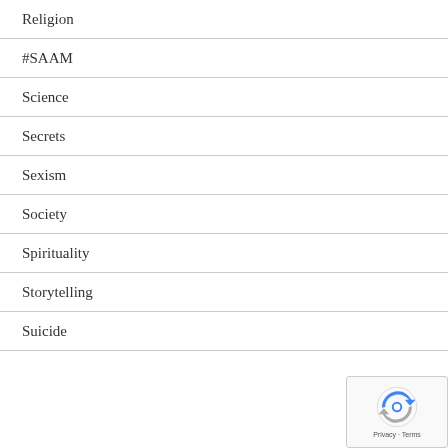Religion
#SAAM
Science
Secrets
Sexism
Society
Spirituality
Storytelling
Suicide